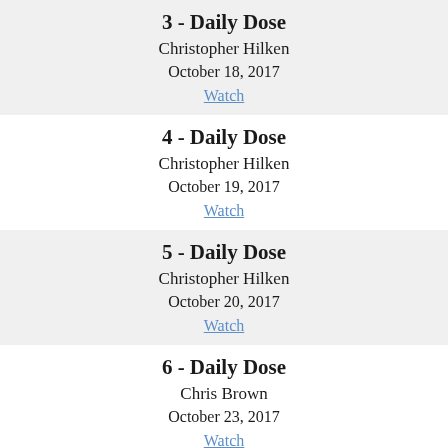3 - Daily Dose
Christopher Hilken
October 18, 2017
Watch
4 - Daily Dose
Christopher Hilken
October 19, 2017
Watch
5 - Daily Dose
Christopher Hilken
October 20, 2017
Watch
6 - Daily Dose
Chris Brown
October 23, 2017
Watch
7 - Daily Dose
Chris Brown